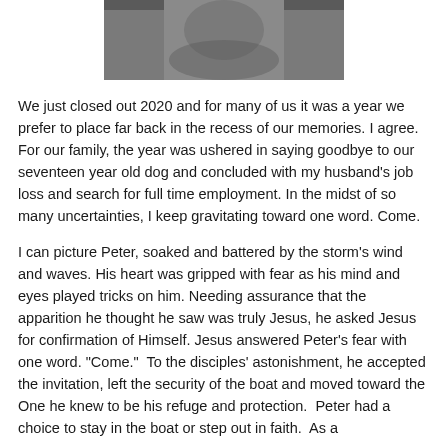[Figure (photo): A person holding a dog, partially visible at top of page]
We just closed out 2020 and for many of us it was a year we prefer to place far back in the recess of our memories. I agree. For our family, the year was ushered in saying goodbye to our seventeen year old dog and concluded with my husband’s job loss and search for full time employment. In the midst of so many uncertainties, I keep gravitating toward one word. Come.
I can picture Peter, soaked and battered by the storm’s wind and waves. His heart was gripped with fear as his mind and eyes played tricks on him. Needing assurance that the apparition he thought he saw was truly Jesus, he asked Jesus for confirmation of Himself. Jesus answered Peter’s fear with one word. “Come.”  To the disciples’ astonishment, he accepted the invitation, left the security of the boat and moved toward the One he knew to be his refuge and protection.  Peter had a choice to stay in the boat or step out in faith.  As a